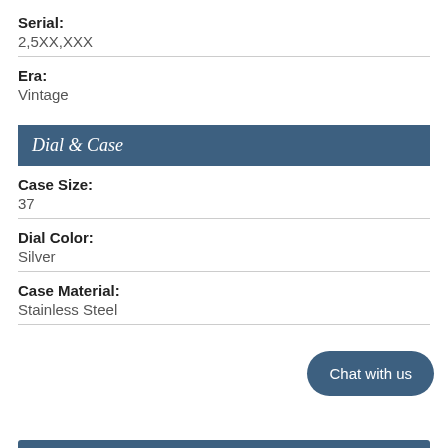Serial: 2,5XX,XXX
Era: Vintage
Dial & Case
Case Size: 37
Dial Color: Silver
Case Material: Stainless Steel
Chat with us